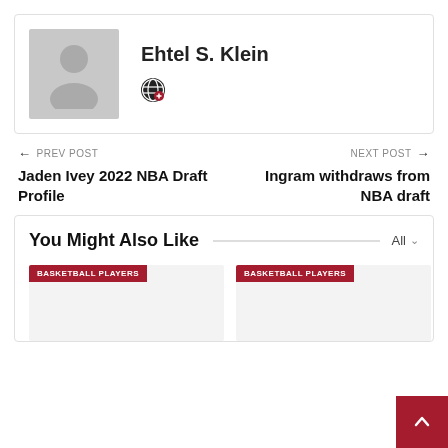[Figure (illustration): Author profile card with gray placeholder avatar and name Ehtel S. Klein with a globe/social icon]
Ehtel S. Klein
← PREV POST
Jaden Ivey 2022 NBA Draft Profile
NEXT POST →
Ingram withdraws from NBA draft
You Might Also Like
BASKETBALL PLAYERS
BASKETBALL PLAYERS